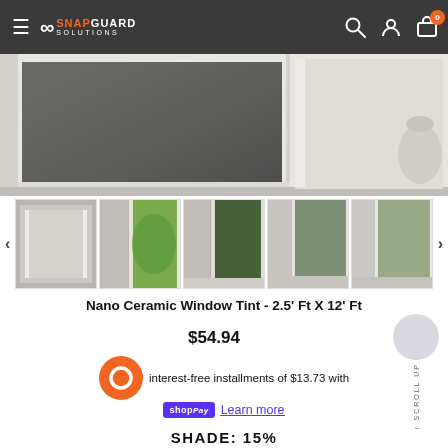SnapGuard Solutions — navigation bar with logo, search, account, cart (0)
[Figure (photo): Main product photo of a window with tint film applied, showing partial dark tinted pane on white window frame]
[Figure (photo): Thumbnail strip of 5 window tint product images with left/right carousel arrows]
Nano Ceramic Window Tint - 2.5' Ft X 12' Ft
$54.94
interest-free installments of $13.73 with
shopPay  Learn more
SHADE: 15%